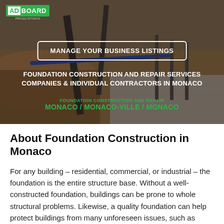[Figure (photo): Construction site background showing foundation work with concrete and rebar]
ADBOARD
MANAGE YOUR BUSINESS LISTINGS
FOUNDATION CONSTRUCTION AND REPAIR SERVICES COMPANIES & INDIVIDUAL CONTRACTORS IN MONACO
FOUNDATION CONSTRUCTION AND REPAIR
MONACO / MONACO-VILLE / MONACO
About Foundation Construction in Monaco
For any building – residential, commercial, or industrial – the foundation is the entire structure base. Without a well-constructed foundation, buildings can be prone to whole structural problems. Likewise, a quality foundation can help protect buildings from many unforeseen issues, such as settling, shifting over time, seismic action, and much more. The professionals who work to build foundations generally